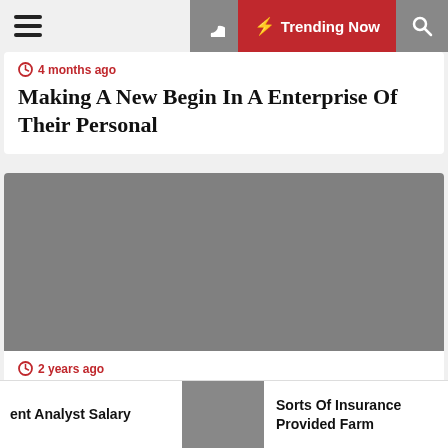Trending Now
4 months ago
Making A New Begin In A Enterprise Of Their Personal
[Figure (photo): Gray placeholder image for British Airways article]
2 years ago
British Airways
ent Analyst Salary | Sorts Of Insurance Provided Farm